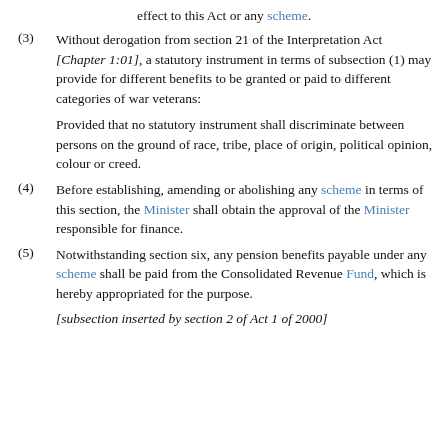effect to this Act or any scheme.
(3) Without derogation from section 21 of the Interpretation Act [Chapter 1:01], a statutory instrument in terms of subsection (1) may provide for different benefits to be granted or paid to different categories of war veterans:

Provided that no statutory instrument shall discriminate between persons on the ground of race, tribe, place of origin, political opinion, colour or creed.
(4) Before establishing, amending or abolishing any scheme in terms of this section, the Minister shall obtain the approval of the Minister responsible for finance.
(5) Notwithstanding section six, any pension benefits payable under any scheme shall be paid from the Consolidated Revenue Fund, which is hereby appropriated for the purpose.
[subsection inserted by section 2 of Act 1 of 2000]